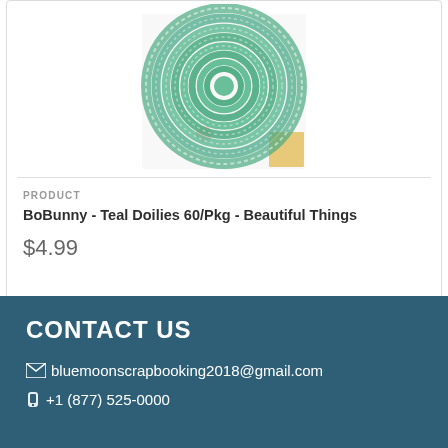[Figure (photo): Teal crocheted doilies in various sizes stacked/overlapping, showing concentric circle lace pattern in green/teal color, product image on white background]
PRODUCT
BoBunny - Teal Doilies 60/Pkg - Beautiful Things
$4.99
CONTACT US
bluemoonscrapbooking2018@gmail.com
+1 (877) 525-0000